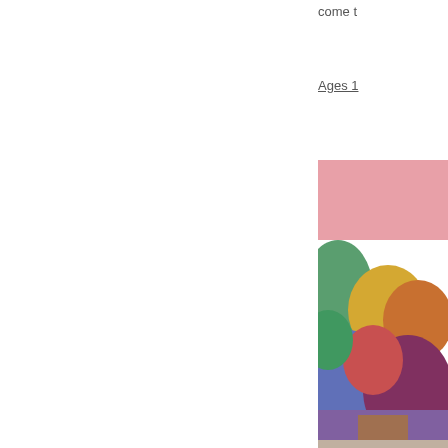come t
Ages 1
[Figure (photo): Colorful illustration or painting showing children or figures with vibrant pink, green, yellow, orange and blue colors, partially cropped on the right side of the page]